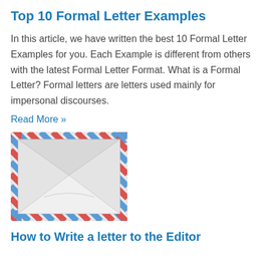Top 10 Formal Letter Examples
In this article, we have written the best 10 Formal Letter Examples for you. Each Example is different from others with the latest Formal Letter Format. What is a Formal Letter? Formal letters are letters used mainly for impersonal discourses.
Read More »
[Figure (illustration): An airmail envelope icon with red-and-blue dashed border, white body, and a grey V-shaped flap on front.]
How to Write a letter to the Editor